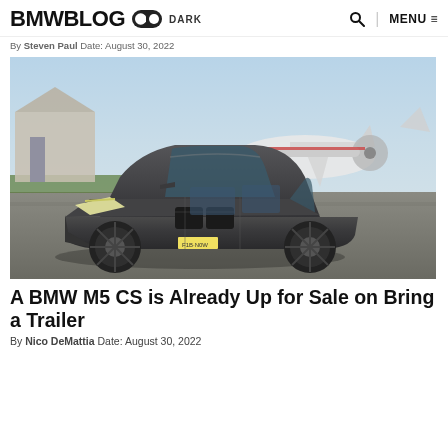BMWBLOG DARK MENU
By Steven Paul Date: August 30, 2022
[Figure (photo): Dark gray BMW M5 CS sedan driving on an airport tarmac with small propeller aircraft and a hangar visible in the background]
A BMW M5 CS is Already Up for Sale on Bring a Trailer
By Nico DeMattia Date: August 30, 2022